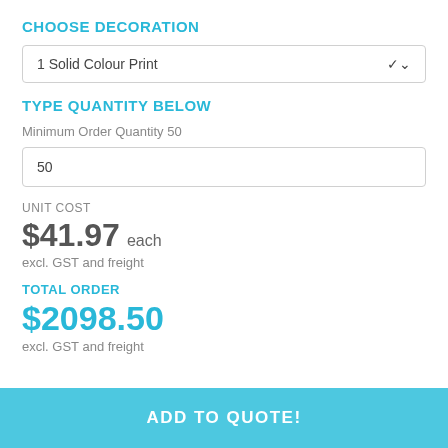CHOOSE DECORATION
1 Solid Colour Print
TYPE QUANTITY BELOW
Minimum Order Quantity 50
50
UNIT COST
$41.97 each
excl. GST and freight
TOTAL ORDER
$2098.50
excl. GST and freight
ADD TO QUOTE!